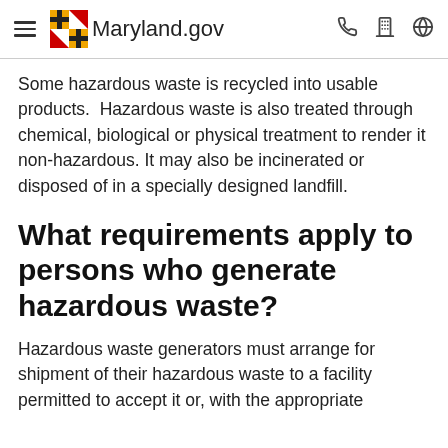Maryland.gov
Some hazardous waste is recycled into usable products. Hazardous waste is also treated through chemical, biological or physical treatment to render it non-hazardous. It may also be incinerated or disposed of in a specially designed landfill.
What requirements apply to persons who generate hazardous waste?
Hazardous waste generators must arrange for shipment of their hazardous waste to a facility permitted to accept it or, with the appropriate